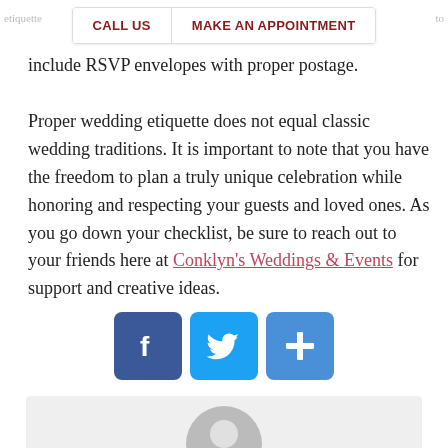CALL US | MAKE AN APPOINTMENT
include RSVP envelopes with proper postage.
Proper wedding etiquette does not equal classic wedding traditions. It is important to note that you have the freedom to plan a truly unique celebration while honoring and respecting your guests and loved ones. As you go down your checklist, be sure to reach out to your friends here at Conklyn's Weddings & Events for support and creative ideas.
[Figure (infographic): Social media share buttons: Facebook (blue), Twitter (blue), and a plus/share button (blue)]
[Figure (illustration): Grey avatar/profile placeholder icon inside a light grey rounded rectangle box, with heading 'ABOUT CONKLYNSWEDDINGS' below]